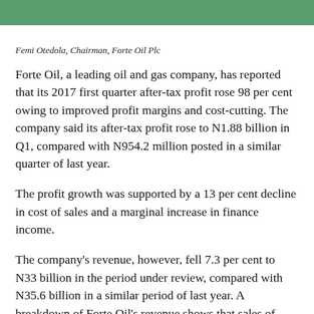Femi Otedola, Chairman, Forte Oil Plc
Forte Oil, a leading oil and gas company, has reported that its 2017 first quarter after-tax profit rose 98 per cent owing to improved profit margins and cost-cutting. The company said its after-tax profit rose to N1.88 billion in Q1, compared with N954.2 million posted in a similar quarter of last year.
The profit growth was supported by a 13 per cent decline in cost of sales and a marginal increase in finance income.
The company's revenue, however, fell 7.3 per cent to N33 billion in the period under review, compared with N35.6 billion in a similar period of last year. A breakdown of Forte Oil's revenue shows that sales of fuels fell 24 per cent to